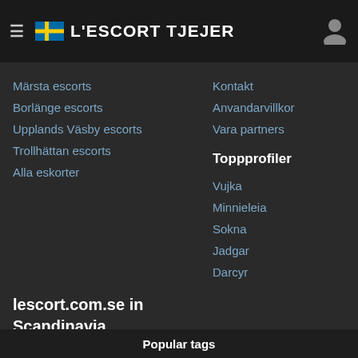L'ESCORT TJEJER
Märsta escorts
Borlänge escorts
Upplands Väsby escorts
Trollhättan escorts
Alla eskorter
Kontakt
Anvandarvillkor
Vara partners
Toppprofiler
Vujka
Minnieleia
Sokna
Jadgar
Darcyr
lescort.com.se in Scandinavia
Sverige
Norge
Danmark
Finland
Popular tags